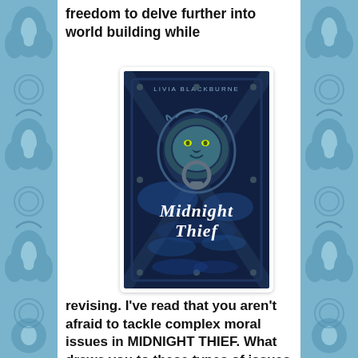freedom to delve further into world building while
[Figure (illustration): Book cover of 'Midnight Thief' by Livia Blackburne. Dark blue-toned cover featuring an ornate lion door knocker with glowing green eyes on a wooden door. The title 'Midnight Thief' is written in stylized white lettering in the lower half of the cover.]
revising. I’ve read that you aren’t afraid to tackle complex moral issues in MIDNIGHT THIEF. What draws you to these types of issues and tell us a bit about some of the